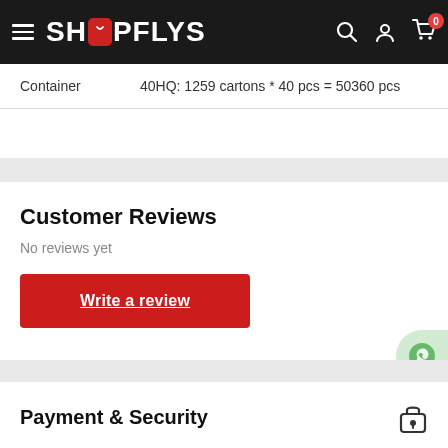SHOPFLYS
| Container | 40HQ: 1259 cartons * 40 pcs = 50360 pcs |
Customer Reviews
No reviews yet
Write a review
Payment & Security